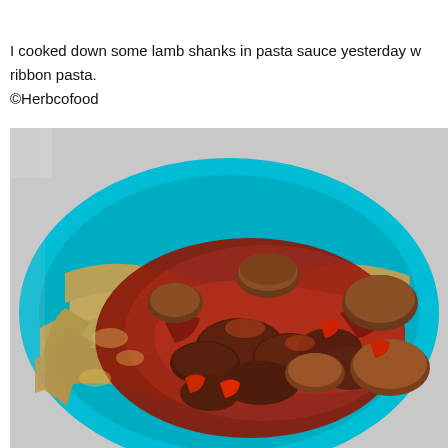I cooked down some lamb shanks in pasta sauce yesterday w ribbon pasta.
©Herbcofood
[Figure (photo): A teal/turquoise plate holding ribbon pasta (pappardelle) topped with braised lamb shank in a rich red tomato sauce with mushrooms and red peppers.]